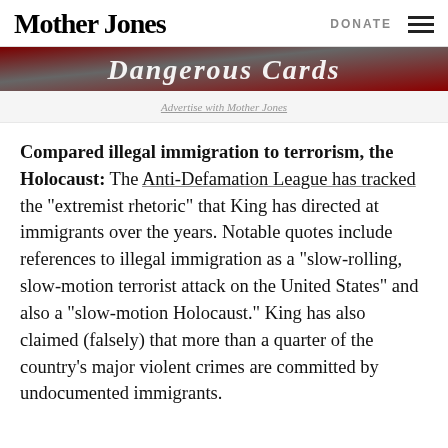Mother Jones | DONATE
[Figure (illustration): Dangerous Cards banner image with dark red and grey background]
Advertise with Mother Jones
Compared illegal immigration to terrorism, the Holocaust: The Anti-Defamation League has tracked the "extremist rhetoric" that King has directed at immigrants over the years. Notable quotes include references to illegal immigration as a "slow-rolling, slow-motion terrorist attack on the United States" and also a "slow-motion Holocaust." King has also claimed (falsely) that more than a quarter of the country's major violent crimes are committed by undocumented immigrants.